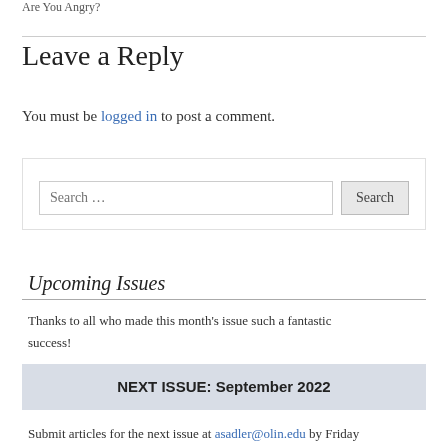Are You Angry?
Leave a Reply
You must be logged in to post a comment.
Search …
Upcoming Issues
Thanks to all who made this month's issue such a fantastic success!
NEXT ISSUE: September 2022
Submit articles for the next issue at asadler@olin.edu by Friday